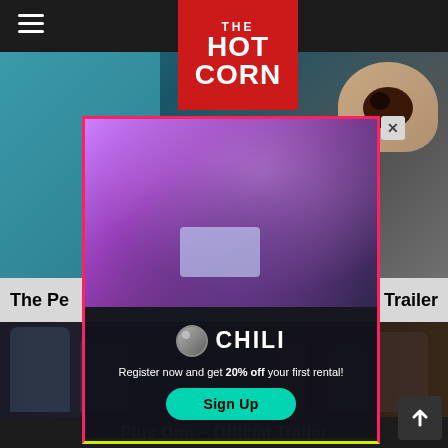THE HOT CORN
[Figure (screenshot): Website screenshot showing The Hot Corn movie website with background images of people and a CHILI streaming service advertisement overlay. The ad shows a family watching content on a laptop, with CHILI logo, promotional text 'Register now and get 20% off your first rental!' and a Sign Up button.]
The Pe... l Trailer
Plus One – Official Trailer